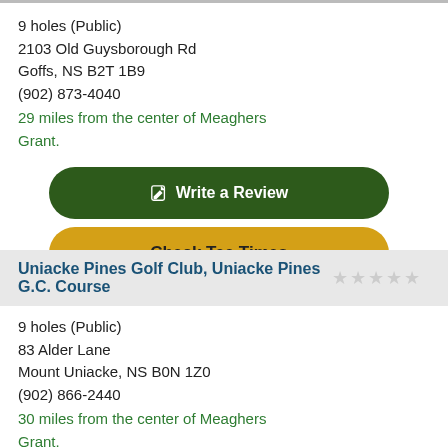9 holes (Public)
2103 Old Guysborough Rd
Goffs, NS B2T 1B9
(902) 873-4040
29 miles from the center of Meaghers Grant.
Write a Review
Check Tee Times
Uniacke Pines Golf Club, Uniacke Pines G.C. Course
9 holes (Public)
83 Alder Lane
Mount Uniacke, NS B0N 1Z0
(902) 866-2440
30 miles from the center of Meaghers Grant.
Write a Review
Check Tee Times